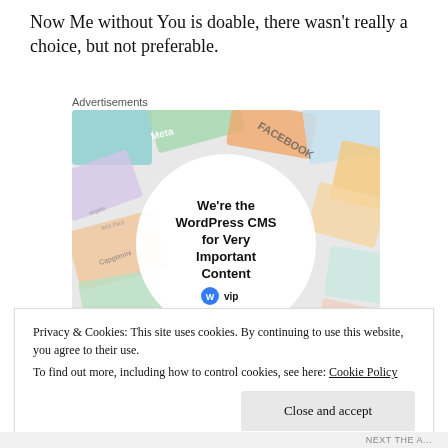Now Me without You is doable, there wasn't really a choice, but not preferable.
Advertisements
[Figure (screenshot): WordPress VIP advertisement showing brand logos (Meta, Facebook, Capgemini, Merck, Salesforce) around a central circle with text: We're the WordPress CMS for Very Important Content. WordPress VIP logo. Learn more button.]
Privacy & Cookies: This site uses cookies. By continuing to use this website, you agree to their use.
To find out more, including how to control cookies, see here: Cookie Policy
Close and accept